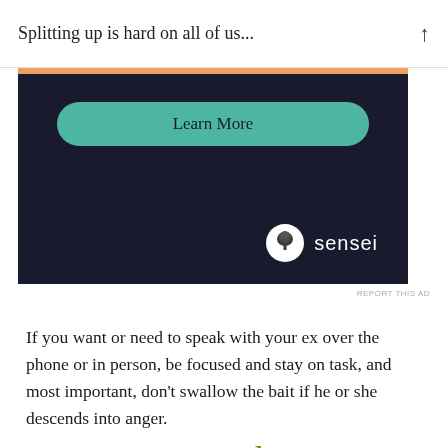Splitting up is hard on all of us...
[Figure (screenshot): Advertisement banner with dark navy background showing a 'Learn More' teal button and the Sensei logo (tree icon with white circle) in the bottom right corner. Orange bar across the top.]
REPORT THIS AD
If you want or need to speak with your ex over the phone or in person, be focused and stay on task, and most important, don't swallow the bait if he or she descends into anger.
2. … or your therapist
Teenagers like to feel in control, and divorce turns their